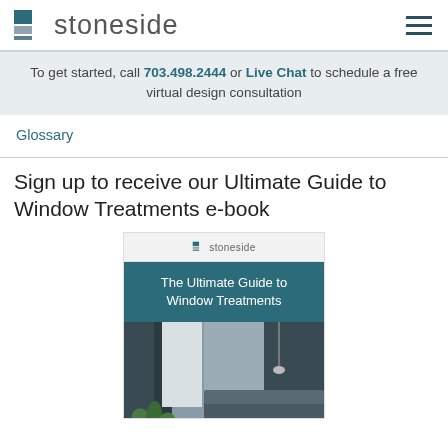stoneside
To get started, call 703.498.2444 or Live Chat to schedule a free virtual design consultation
Glossary
Sign up to receive our Ultimate Guide to Window Treatments e-book
[Figure (photo): Cover of 'The Ultimate Guide to Window Treatments' e-book by Stoneside, showing a teal header strip with white title text over a bedroom room photo with dark curtains and plants.]